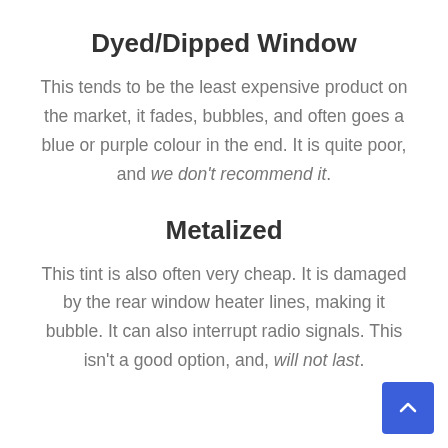Dyed/Dipped Window
This tends to be the least expensive product on the market, it fades, bubbles, and often goes a blue or purple colour in the end. It is quite poor, and we don't recommend it.
Metalized
This tint is also often very cheap. It is damaged by the rear window heater lines, making it bubble. It can also interrupt radio signals. This isn't a good option, and, will not last.